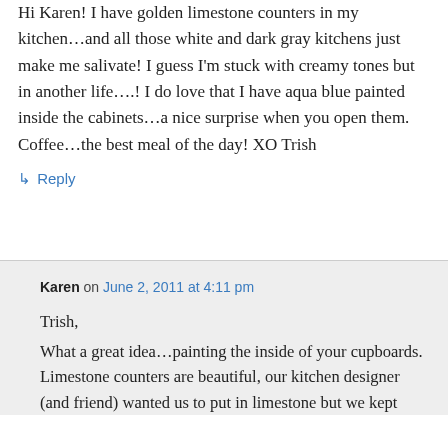Hi Karen! I have golden limestone counters in my kitchen…and all those white and dark gray kitchens just make me salivate! I guess I'm stuck with creamy tones but in another life….! I do love that I have aqua blue painted inside the cabinets…a nice surprise when you open them. Coffee…the best meal of the day! XO Trish
↳ Reply
Karen on June 2, 2011 at 4:11 pm
Trish,
What a great idea…painting the inside of your cupboards. Limestone counters are beautiful, our kitchen designer (and friend) wanted us to put in limestone but we kept